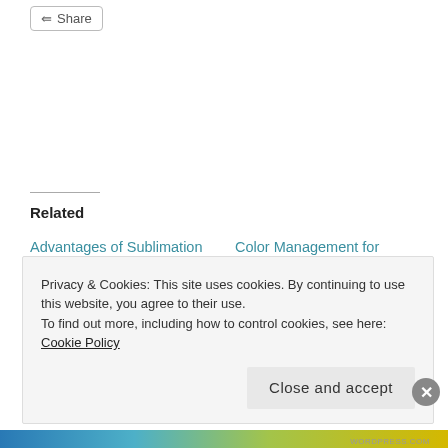Share
Related
Advantages of Sublimation Printing
August 16, 2011
In "Sublimation"
Color Management for Sublimation in a Nut Shell
December 6, 2011
In "Sublimation"
Preventing Dye Migration on Your 100% Colored
Privacy & Cookies: This site uses cookies. By continuing to use this website, you agree to their use.
To find out more, including how to control cookies, see here: Cookie Policy
Close and accept